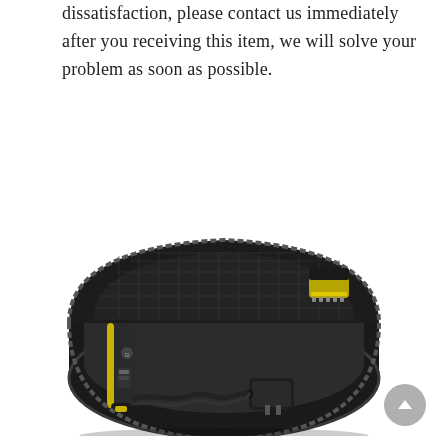dissatisfaction, please contact us immediately after you receiving this item, we will solve your problem as soon as possible.
[Figure (photo): Open black EVA hard shell zipper carry case containing a Philips OneBlade electric trimmer/shaver with yellow accents, a coiled charging cable, a power adapter, and a spare blade attachment, all organized inside the molded interior compartment.]